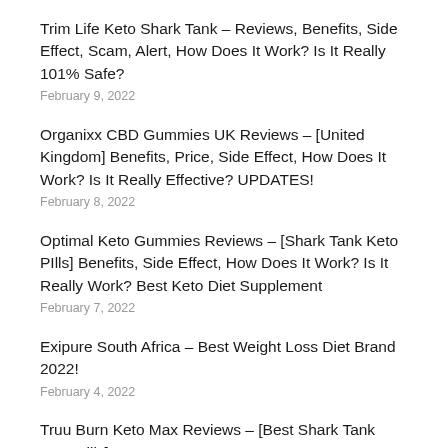Trim Life Keto Shark Tank – Reviews, Benefits, Side Effect, Scam, Alert, How Does It Work? Is It Really 101% Safe?
February 9, 2022
Organixx CBD Gummies UK Reviews – [United Kingdom] Benefits, Price, Side Effect, How Does It Work? Is It Really Effective? UPDATES!
February 8, 2022
Optimal Keto Gummies Reviews – [Shark Tank Keto PIlls] Benefits, Side Effect, How Does It Work? Is It Really Work? Best Keto Diet Supplement
February 7, 2022
Exipure South Africa – Best Weight Loss Diet Brand 2022!
February 4, 2022
Truu Burn Keto Max Reviews – [Best Shark Tank Keto Pills] ...